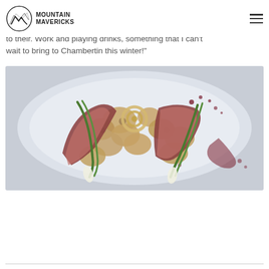Mountain Mavericks
to their. Work and playing drinks, something that I can't wait to bring to Chambertin this winter!"
[Figure (photo): Overhead food photography of a plated dish on a white plate: sliced medium-rare steak with grilled mushrooms, green onions/spring onions, and a red wine reduction sauce.]